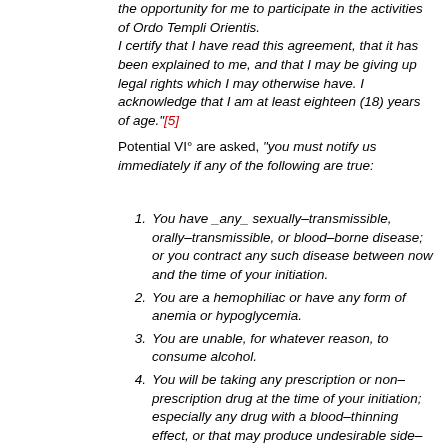the opportunity for me to participate in the activities of Ordo Templi Orientis. I certify that I have read this agreement, that it has been explained to me, and that I may be giving up legal rights which I may otherwise have. I acknowledge that I am at least eighteen (18) years of age."[5]
Potential VI° are asked, "you must notify us immediately if any of the following are true:
You have _any_ sexually–transmissible, orally–transmissible, or blood–borne disease; or you contract any such disease between now and the time of your initiation.
You are a hemophiliac or have any form of anemia or hypoglycemia.
You are unable, for whatever reason, to consume alcohol.
You will be taking any prescription or non–prescription drug at the time of your initiation; especially any drug with a blood–thinning effect, or that may produce undesirable side–effects when taken with alcohol."